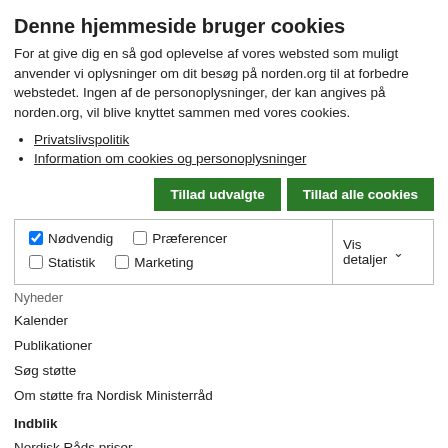Denne hjemmeside bruger cookies
For at give dig en så god oplevelse af vores websted som muligt anvender vi oplysninger om dit besøg på norden.org til at forbedre webstedet. Ingen af de personoplysninger, der kan angives på norden.org, vil blive knyttet sammen med vores cookies.
Privatslivspolitik
Information om cookies og personoplysninger
[Figure (screenshot): Two green buttons: 'Tillad udvalgte' and 'Tillad alle cookies']
[Figure (screenshot): Cookie consent checkbox row with Nødvendig (checked), Præferencer, Statistik, Marketing checkboxes and 'Vis detaljer' dropdown]
Nyheder
Kalender
Publikationer
Søg støtte
Om støtte fra Nordisk Ministerråd
Indblik
Nordisk Råds priser
Politikområder